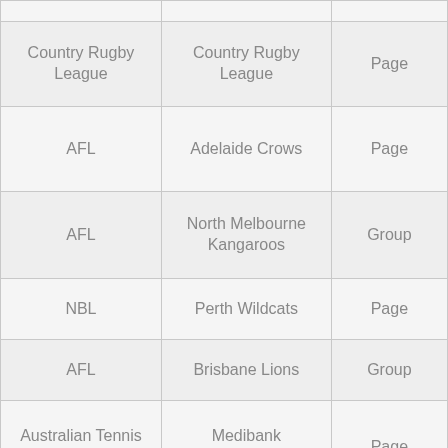|  |  |  |
| Country Rugby League | Country Rugby League | Page |
| AFL | Adelaide Crows | Page |
| AFL | North Melbourne Kangaroos | Group |
| NBL | Perth Wildcats | Page |
| AFL | Brisbane Lions | Group |
| Australian Tennis Open Series | Medibank International Sydney | Page |
| NRL | NRL | Page |
| NRL | Gold Coast Titans | Sports / Athletics |